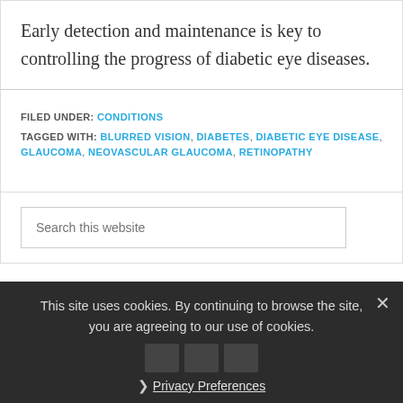Early detection and maintenance is key to controlling the progress of diabetic eye diseases.
FILED UNDER: CONDITIONS
TAGGED WITH: BLURRED VISION, DIABETES, DIABETIC EYE DISEASE, GLAUCOMA, NEOVASCULAR GLAUCOMA, RETINOPATHY
Search this website
This site uses cookies. By continuing to browse the site, you are agreeing to our use of cookies.
Privacy Preferences